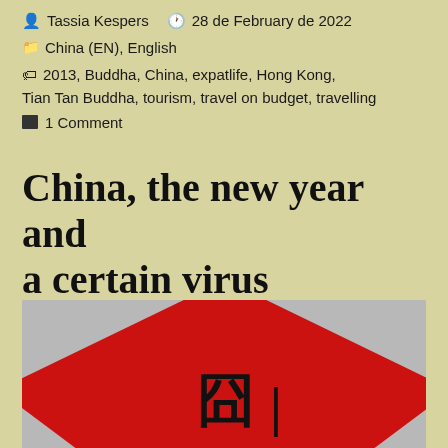Tassia Kespers  28 de February de 2022
China (EN), English
2013, Buddha, China, expatlife, Hong Kong, Tian Tan Buddha, tourism, travel on budget, travelling
1 Comment
China, the new year and a certain virus
[Figure (photo): A red diamond/triangle shape resembling a Chinese New Year decoration with Chinese characters written in black on the red surface, photographed against a grey background.]